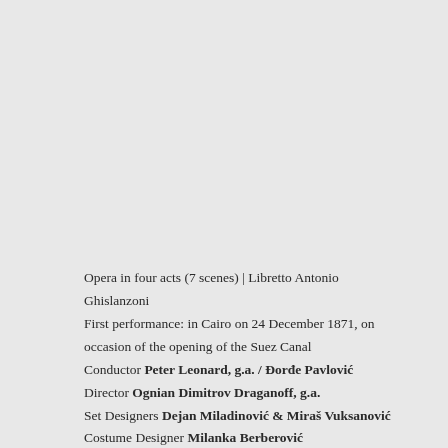Opera in four acts (7 scenes) | Libretto Antonio Ghislanzoni
First performance: in Cairo on 24 December 1871, on occasion of the opening of the Suez Canal
Conductor Peter Leonard, g.a. / Đorđe Pavlović
Director Ognian Dimitrov Draganoff, g.a.
Set Designers Dejan Miladinović & Miraš Vuksanović
Costume Designer Milanka Berberović
Costume Designer Associate Katarina Gržić Nikolić